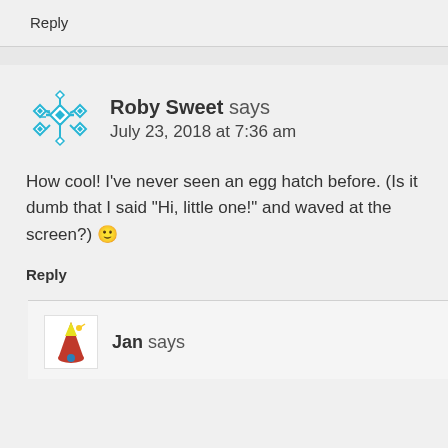Reply
Roby Sweet says
July 23, 2018 at 7:36 am
How cool! I've never seen an egg hatch before. (Is it dumb that I said “Hi, little one!” and waved at the screen?) 🙂
Reply
Jan says